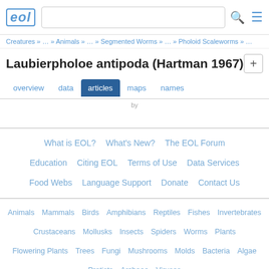EOL [logo] [search bar] [search icon] [menu icon]
Creatures » … » Animals » … » Segmented Worms » … » Pholoid Scaleworms » …
Laubierpholoe antipoda (Hartman 1967)
overview  data  articles  maps  names
What is EOL?  What's New?  The EOL Forum  Education  Citing EOL  Terms of Use  Data Services  Food Webs  Language Support  Donate  Contact Us
Animals  Mammals  Birds  Amphibians  Reptiles  Fishes  Invertebrates  Crustaceans  Mollusks  Insects  Spiders  Worms  Plants  Flowering Plants  Trees  Fungi  Mushrooms  Molds  Bacteria  Algae  Protists  Archaea  Viruses
EOL is hosted by:
NATIONAL